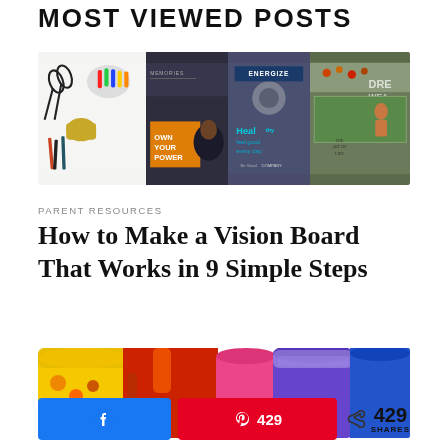MOST VIEWED POSTS
[Figure (photo): Collage of vision board materials: scissors, crayons, craft supplies on white background next to colorful motivational magazine clippings including 'OWN YOUR POWER', 'ENERGIZE', 'Health feel good every day', and other lifestyle imagery]
PARENT RESOURCES
How to Make a Vision Board That Works in 9 Simple Steps
[Figure (photo): Colorful paint buckets/cups with paint being poured — yellow, red/orange, pink, purple, blue paint containers viewed from above]